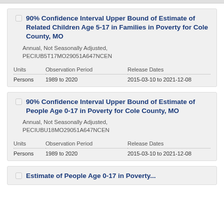90% Confidence Interval Upper Bound of Estimate of Related Children Age 5-17 in Families in Poverty for Cole County, MO
Annual, Not Seasonally Adjusted, PECIUB5T17MO29051A647NCEN
| Units | Observation Period | Release Dates |
| --- | --- | --- |
| Persons | 1989 to 2020 | 2015-03-10 to 2021-12-08 |
90% Confidence Interval Upper Bound of Estimate of People Age 0-17 in Poverty for Cole County, MO
Annual, Not Seasonally Adjusted, PECIUBU18MO29051A647NCEN
| Units | Observation Period | Release Dates |
| --- | --- | --- |
| Persons | 1989 to 2020 | 2015-03-10 to 2021-12-08 |
Estimate of People Age 0-17 in Poverty...